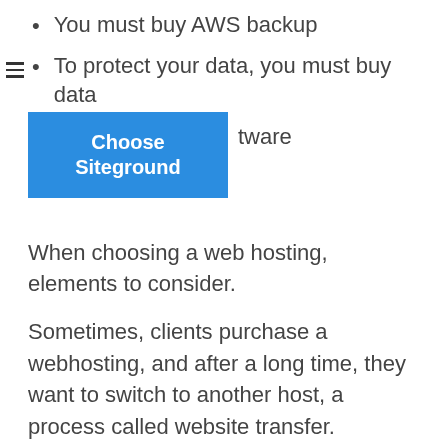You must buy AWS backup
To protect your data, you must buy data protection software
[Figure (other): Blue button overlaying text, labeled 'Choose Siteground']
When choosing a web hosting, elements to consider.
Sometimes, clients purchase a webhosting, and after a long time, they want to switch to another host, a process called website transfer. However, some webhosting provides website migration at a price while others offer the migration free of charge. If you are in search of a free transfer site, then you need to decide to go with HostGator or Greengeeks. They are among the leading web